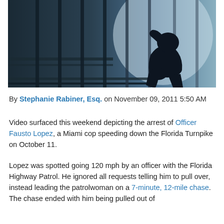[Figure (photo): Silhouette of a person sitting hunched with head in hands behind prison bars, dark blue-grey toned image]
By Stephanie Rabiner, Esq. on November 09, 2011 5:50 AM
Video surfaced this weekend depicting the arrest of Officer Fausto Lopez, a Miami cop speeding down the Florida Turnpike on October 11.
Lopez was spotted going 120 mph by an officer with the Florida Highway Patrol. He ignored all requests telling him to pull over, instead leading the patrolwoman on a 7-minute, 12-mile chase. The chase ended with him being pulled out of